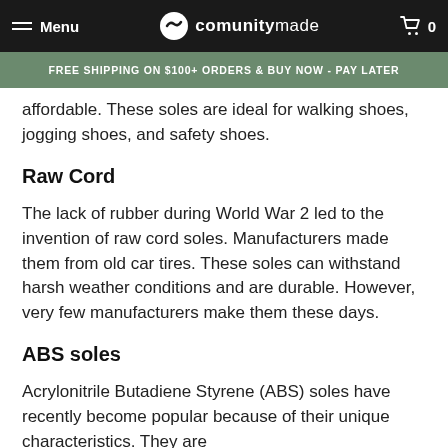Menu | communitymade | 0
FREE SHIPPING ON $100+ ORDERS & BUY NOW - PAY LATER
affordable. These soles are ideal for walking shoes, jogging shoes, and safety shoes.
Raw Cord
The lack of rubber during World War 2 led to the invention of raw cord soles. Manufacturers made them from old car tires. These soles can withstand harsh weather conditions and are durable. However, very few manufacturers make them these days.
ABS soles
Acrylonitrile Butadiene Styrene (ABS) soles have recently become popular because of their unique characteristics. They are